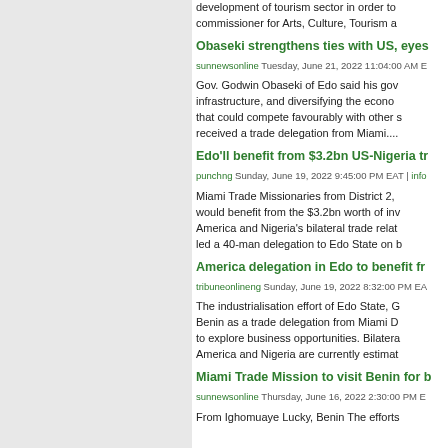development of tourism sector in order to... commissioner for Arts, Culture, Tourism a...
Obaseki strengthens ties with US, eyes...
sunnewsonline Tuesday, June 21, 2022 11:04:00 AM E...
Gov. Godwin Obaseki of Edo said his gov... infrastructure, and diversifying the econo... that could compete favourably with other s... received a trade delegation from Miami....
Edo'll benefit from $3.2bn US-Nigeria tr...
punchng Sunday, June 19, 2022 9:45:00 PM EAT | info...
Miami Trade Missionaries from District 2,... would benefit from the $3.2bn worth of inv... America and Nigeria's bilateral trade relat... led a 40-man delegation to Edo State on b...
America delegation in Edo to benefit fr...
tribuneonlineng Sunday, June 19, 2022 8:32:00 PM EA...
The industrialisation effort of Edo State, G... Benin as a trade delegation from Miami D... to explore business opportunities. Bilatera... America and Nigeria are currently estimat...
Miami Trade Mission to visit Benin for b...
sunnewsonline Thursday, June 16, 2022 2:30:00 PM E...
From Ighomuaye Lucky, Benin The efforts...